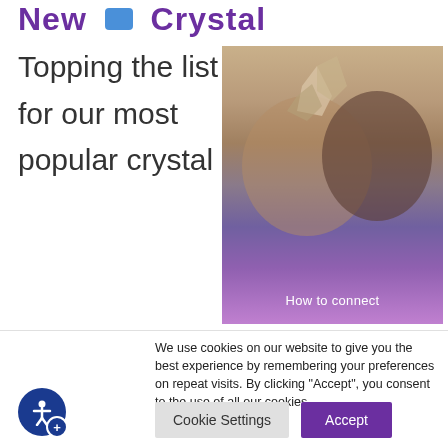New Crystal
Topping the list for our most popular crystal
[Figure (photo): Hands holding a crystal with purple/pink bokeh background and text overlay 'How to connect']
We use cookies on our website to give you the best experience by remembering your preferences on repeat visits. By clicking "Accept", you consent to the use of all our cookies.
Cookie Settings   Accept